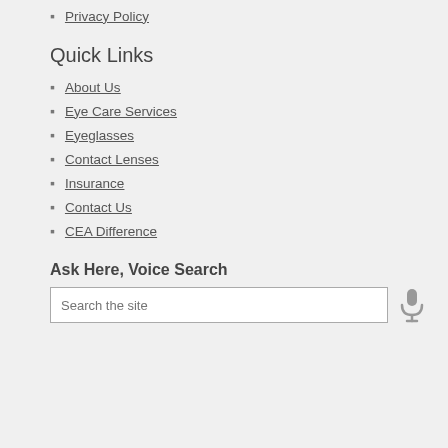Privacy Policy
Quick Links
About Us
Eye Care Services
Eyeglasses
Contact Lenses
Insurance
Contact Us
CEA Difference
Ask Here, Voice Search
Search the site